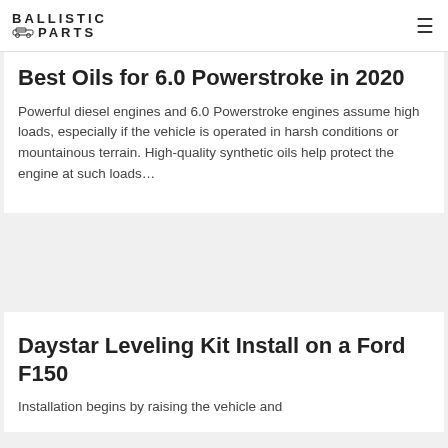BALLISTIC PARTS
Best Oils for 6.0 Powerstroke in 2020
Powerful diesel engines and 6.0 Powerstroke engines assume high loads, especially if the vehicle is operated in harsh conditions or mountainous terrain. High-quality synthetic oils help protect the engine at such loads…
Daystar Leveling Kit Install on a Ford F150
Installation begins by raising the vehicle and